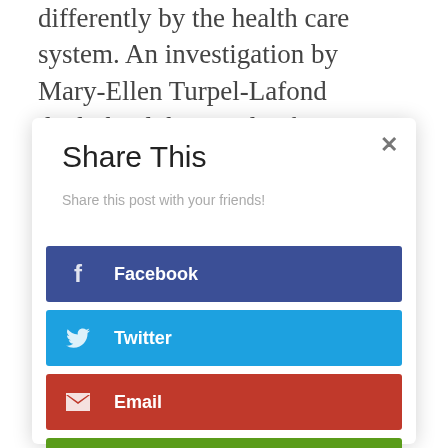differently by the health care system. An investigation by Mary-Ellen Turpel-Lafond daylighted thousands of instances of racist treatment, many with tragic
Share This
Share this post with your friends!
Facebook
Twitter
Email
Print Friendly